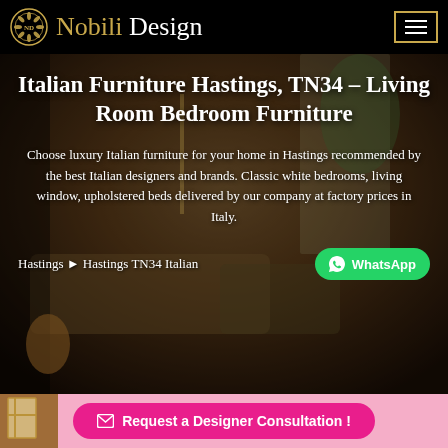Nobili Design
Italian Furniture Hastings, TN34 - Living Room Bedroom Furniture
Choose luxury Italian furniture for your home in Hastings recommended by the best Italian designers and brands. Classic white bedrooms, living window, upholstered beds delivered by our company at factory prices in Italy.
Hastings ▶ Hastings TN34 Italian
WhatsApp
Request a Designer Consultation !